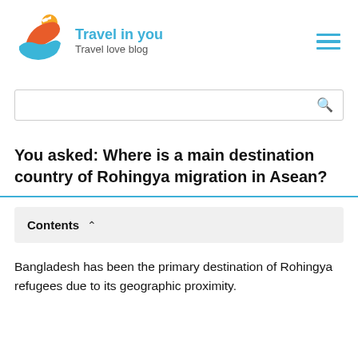[Figure (logo): Travel in you blog logo with circular design featuring orange, red, and blue travel imagery with globe and plane]
Travel in you
Travel love blog
You asked: Where is a main destination country of Rohingya migration in Asean?
Contents
Bangladesh has been the primary destination of Rohingya refugees due to its geographic proximity.